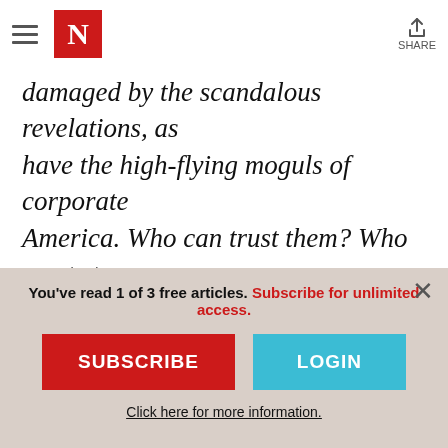The Nation — N logo, hamburger menu, share button
damaged by the scandalous revelations, as have the high-flying moguls of corporate America. Who can trust them? Who wants to pour more good money after bad? In other words, this scandal stuff is bad for business, especially bad for the faltering stock market. Henry Paulson Jr., chair of Goldman Sachs, delivered that message recently in a sober speech before the National Press Club and
You've read 1 of 3 free articles. Subscribe for unlimited access.
SUBSCRIBE
LOGIN
Click here for more information.